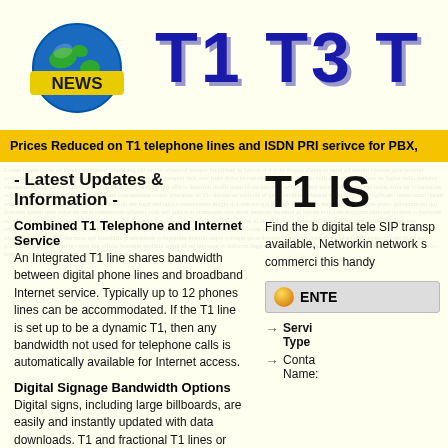[Figure (logo): Globe with NEWS label logo and T1 T3 T text heading]
Prices Reduced on T1 telephone lines and ISDN PRI serivce for PBX,
- Latest Updates & Information -
Combined T1 Telephone and Internet Service
An Integrated T1 line shares bandwidth between digital phone lines and broadband Internet service. Typically up to 12 phones lines can be accommodated. If the T1 line is set up to be a dynamic T1, then any bandwidth not used for telephone calls is automatically available for Internet access.
Digital Signage Bandwidth Options
Digital signs, including large billboards, are easily and instantly updated with data downloads. T1 and fractional T1 lines or VSAT digital satellite connections are available even in rural areas.
What Are Pseudowires?
A pseudowire is a point-to-point link that...
T1 IS
Find the b digital tele SIP transp available, Networkin network s commerci this handy
ENTE
Servi Type
Conta Name: